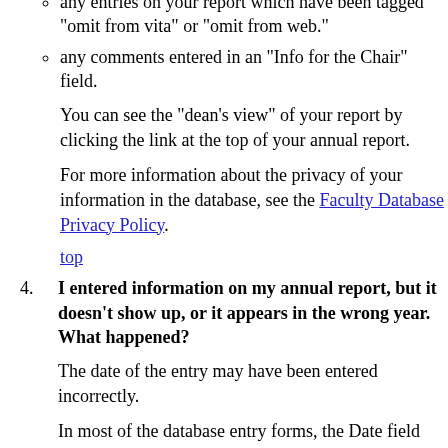any entries on your report which have been tagged "omit from vita" or "omit from web."
any comments entered in an "Info for the Chair" field.
You can see the "dean's view" of your report by clicking the link at the top of your annual report.
For more information about the privacy of your information in the database, see the Faculty Database Privacy Policy.
top
I entered information on my annual report, but it doesn't show up, or it appears in the wrong year. What happened?
The date of the entry may have been entered incorrectly.
In most of the database entry forms, the Date field has two parts:
Fields for entering year, month and day